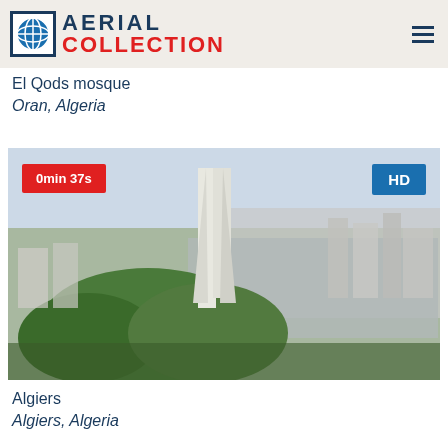AERIAL COLLECTION
El Qods mosque
Oran, Algeria
[Figure (photo): Aerial view of Algiers city with a tall monument structure surrounded by trees in the foreground and dense urban cityscape in the background under a hazy sky. Video thumbnail with duration badge '0min 37s' and 'HD' quality badge.]
Algiers
Algiers, Algeria